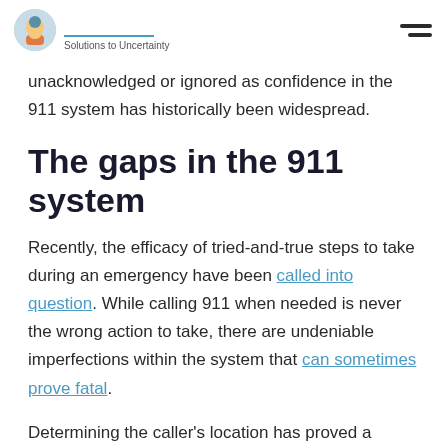Solutions to Uncertainty
unacknowledged or ignored as confidence in the 911 system has historically been widespread.
The gaps in the 911 system
Recently, the efficacy of tried-and-true steps to take during an emergency have been called into question. While calling 911 when needed is never the wrong action to take, there are undeniable imperfections within the system that can sometimes prove fatal.
Determining the caller's location has proved a